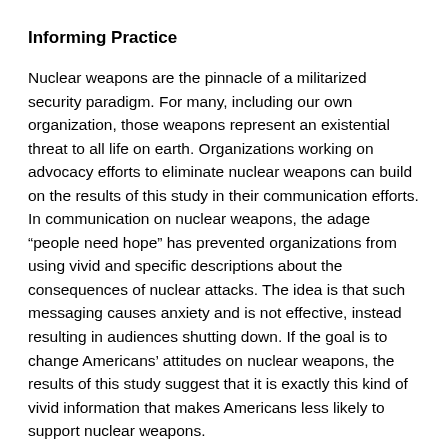Informing Practice
Nuclear weapons are the pinnacle of a militarized security paradigm. For many, including our own organization, those weapons represent an existential threat to all life on earth. Organizations working on advocacy efforts to eliminate nuclear weapons can build on the results of this study in their communication efforts. In communication on nuclear weapons, the adage “people need hope” has prevented organizations from using vivid and specific descriptions about the consequences of nuclear attacks. The idea is that such messaging causes anxiety and is not effective, instead resulting in audiences shutting down. If the goal is to change Americans’ attitudes on nuclear weapons, the results of this study suggest that it is exactly this kind of vivid information that makes Americans less likely to support nuclear weapons.
Some organizations–like Nobel Peace Laureates International Physicians for the Prevention of Nuclear War (IPPNW)...